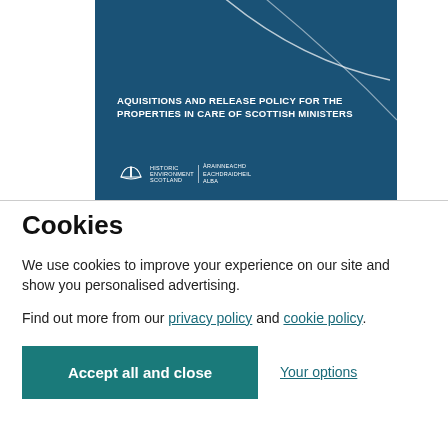[Figure (illustration): A blue document cover card showing title 'AQUISITIONS AND RELEASE POLICY FOR THE PROPERTIES IN CARE OF SCOTTISH MINISTERS' with Historic Environment Scotland / Àrainneachd Eachdraidheil Alba logo at bottom left, and decorative curved white lines in the upper portion.]
Cookies
We use cookies to improve your experience on our site and show you personalised advertising.
Find out more from our privacy policy and cookie policy.
Accept all and close
Your options